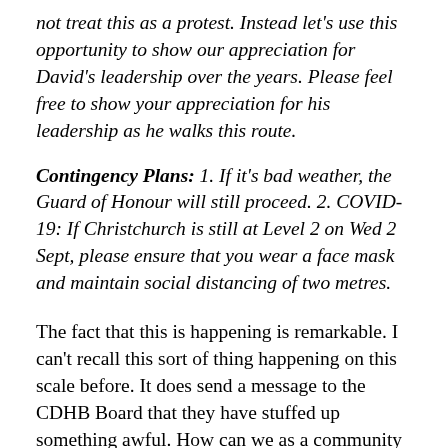not treat this as a protest. Instead let's use this opportunity to show our appreciation for David's leadership over the years. Please feel free to show your appreciation for his leadership as he walks this route.
Contingency Plans: 1. If it's bad weather, the Guard of Honour will still proceed. 2. COVID-19: If Christchurch is still at Level 2 on Wed 2 Sept, please ensure that you wear a face mask and maintain social distancing of two metres.
The fact that this is happening is remarkable. I can't recall this sort of thing happening on this scale before. It does send a message to the CDHB Board that they have stuffed up something awful. How can we as a community restore some sense of normality